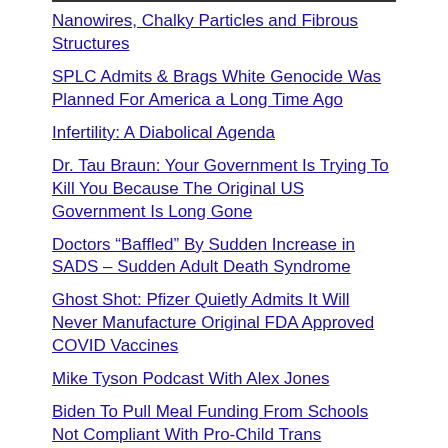Nanowires, Chalky Particles and Fibrous Structures
SPLC Admits & Brags White Genocide Was Planned For America a Long Time Ago
Infertility: A Diabolical Agenda
Dr. Tau Braun: Your Government Is Trying To Kill You Because The Original US Government Is Long Gone
Doctors “Baffled” By Sudden Increase in SADS – Sudden Adult Death Syndrome
Ghost Shot: Pfizer Quietly Admits It Will Never Manufacture Original FDA Approved COVID Vaccines
Mike Tyson Podcast With Alex Jones
Biden To Pull Meal Funding From Schools Not Compliant With Pro-Child Trans Grooming Policies
Spain Admits To Spraying Deadly Pesticides As Part Of Secret UN Chemtrail Program
Election Integrity Group Featured In 2000 Mules Unveils Findings on Ballot Trafficking For Lawmakers In Arizona
Todd Callender: “It’s Now Or Never”
Home Govt Of Food Will Perishing After Comeuppance And Will For